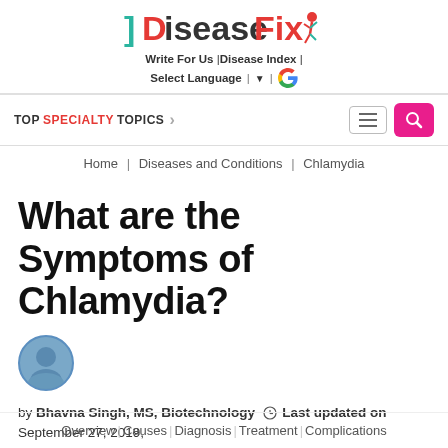[Figure (logo): DiseaseFix website logo with teal bracket, red D, dark text 'isease', red 'Fix', and a running figure icon in red/teal]
Write For Us | Disease Index | Select Language | G
TOP SPECIALTY TOPICS
Home | Diseases and Conditions | Chlamydia
What are the Symptoms of Chlamydia?
by Bhavna Singh, MS, Biotechnology  Last updated on September 27, 2019,
Overview | Causes | Diagnosis | Treatment | Complications